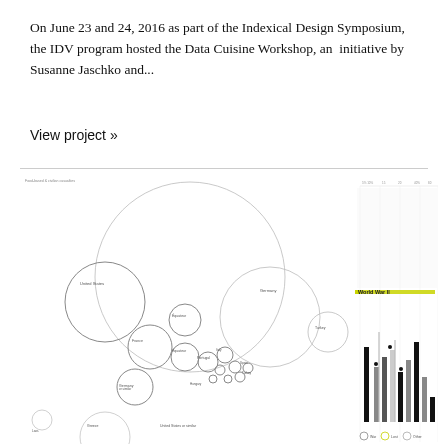On June 23 and 24, 2016 as part of the Indexical Design Symposium, the IDV program hosted the Data Cuisine Workshop, an  initiative by Susanne Jaschko and...
View project »
[Figure (infographic): Data visualization showing bubble chart on the left with labeled circles representing countries/regions, and a bar chart timeline on the right with years 1930 and 1940 marked. A horizontal yellow-green line labeled 'World War II' crosses the chart. The right side shows vertical bars of varying heights in black and gray. Small legend at the bottom shows circle and color indicators.]